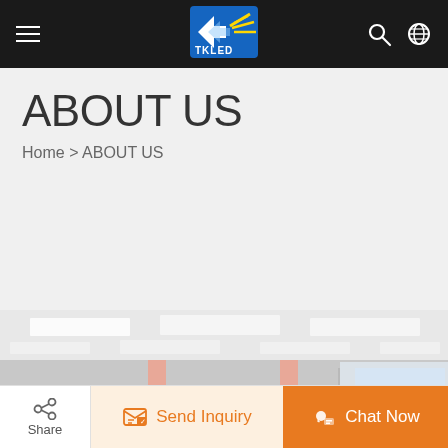TKLED navigation bar with hamburger menu, logo, search and globe icons
ABOUT US
Home > ABOUT US
[Figure (photo): Office interior photo showing an open-plan workspace with multiple employees seated at white desks with partitions, wearing red uniforms, with plants, computers, and fluorescent ceiling lights. Columns are pink/salmon colored.]
Share | Send Inquiry | Chat Now